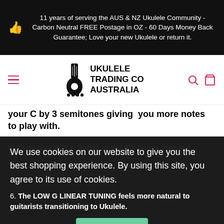11 years of serving the AUS & NZ Ukulele Community - Carbon Neutral FREE Postage in OZ - 60 Days Money Back Guarantee; Love your new Ukulele or return it.
[Figure (logo): Ukulele Trading Co Australia logo with ukulele and hand graphic]
your C by 3 semitones giving  you more notes to play with.
5. If you play ROCK Songs or BLUES Songs they will
We use cookies on our website to give you the best shopping experience. By using this site, you agree to its use of cookies.
6. The LOW G LINEAR TUNING feels more natural to guitarists transitioning to Ukulele.
I agree
7. Playing Low Notes differs...